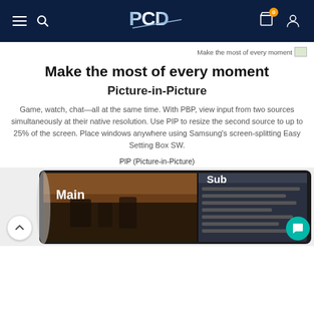PCD logo navigation bar with hamburger menu, search, cart (0), and user icon
Make the most of every moment
Make the most of every moment
Picture-in-Picture
Game, watch, chat—all at the same time. With PBP, view input from two sources simultaneously at their native resolution. Use PIP to resize the second source to up to 25% of the screen. Place windows anywhere using Samsung's screen-splitting Easy Setting Box SW.
PIP (Picture-in-Picture)
[Figure (photo): Monitor displaying Picture-in-Picture feature with 'Main' gaming scene on left and 'Sub' desktop screen on right]